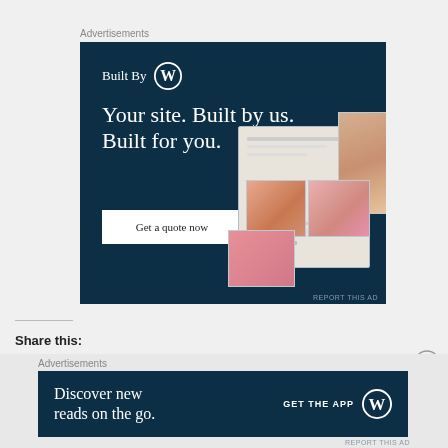Advertisements
[Figure (illustration): WordPress 'Built By WP' advertisement banner. Dark navy background. Text: 'Built By [WordPress logo]' and 'Your site. Built by us. Built for you.' with a 'Get a quote now' button. Right side shows a laptop mockup with a photography website and overlaid photo cards.]
REPORT THIS AD
Share this:
[Figure (illustration): Close X button circle icon]
Advertisements
[Figure (illustration): WordPress app advertisement banner. Dark navy background. Text: 'Discover new reads on the go.' with 'GET THE APP' and WordPress logo on the right.]
REPORT THIS AD